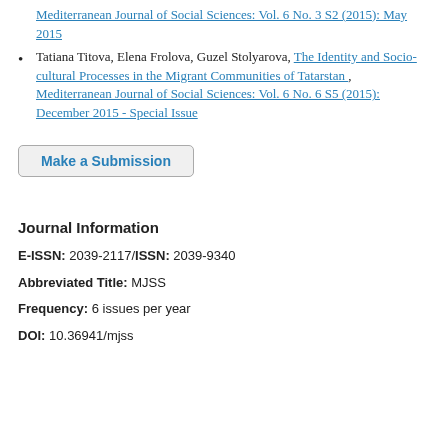Mediterranean Journal of Social Sciences: Vol. 6 No. 3 S2 (2015): May 2015
Tatiana Titova, Elena Frolova, Guzel Stolyarova, The Identity and Socio-cultural Processes in the Migrant Communities of Tatarstan , Mediterranean Journal of Social Sciences: Vol. 6 No. 6 S5 (2015): December 2015 - Special Issue
Make a Submission
Journal Information
E-ISSN: 2039-2117/ISSN: 2039-9340
Abbreviated Title: MJSS
Frequency: 6 issues per year
DOI: 10.36941/mjss